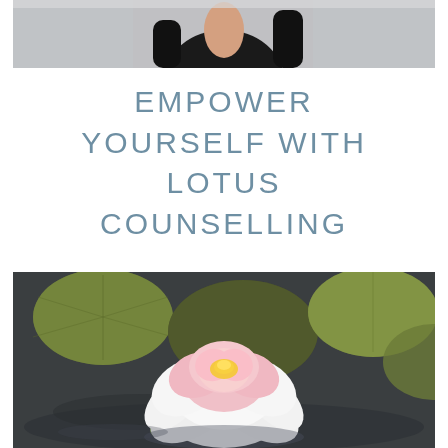[Figure (photo): Top portion of a photo showing a person wearing black clothing, photographed from the shoulders/neck area, with a blurred background. Only the bottom portion of the image is visible.]
EMPOWER YOURSELF WITH LOTUS COUNSELLING
[Figure (photo): A beautiful pink and white lotus flower in full bloom floating on dark water, surrounded by large round green lily pads. The flower is photographed close-up with soft natural lighting.]